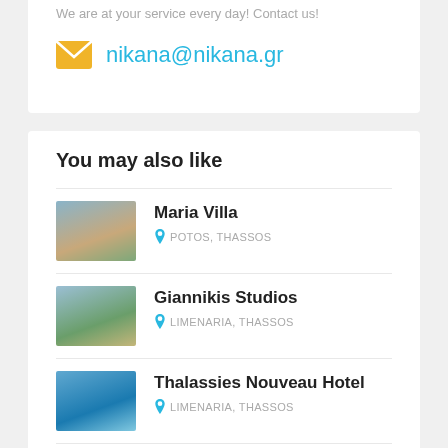We are at your service every day! Contact us!
nikana@nikana.gr
You may also like
Maria Villa — POTOS, THASSOS
Giannikis Studios — LIMENARIA, THASSOS
Thalassies Nouveau Hotel — LIMENARIA, THASSOS
Esperides Sofras Hotel